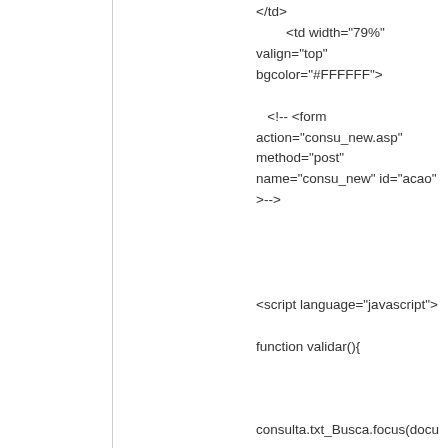</td>
        <td width="79%" valign="top" bgcolor="#FFFFFF">

   <!-- <form action="consu_new.asp" method="post" name="consu_new" id="acao" onSubmit="return valida();" -->



<script language="javascript">

function validar(){



consulta.txt_Busca.focus(document.consulta.txt_Busca.style.background ="");

    if (consulta.txt_Busca.value ==""){